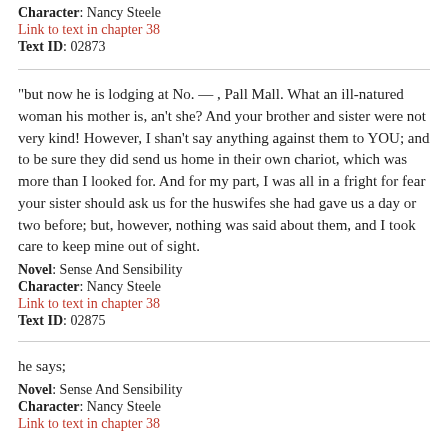Character: Nancy Steele
Link to text in chapter 38
Text ID: 02873
"but now he is lodging at No. — , Pall Mall. What an ill-natured woman his mother is, an't she? And your brother and sister were not very kind! However, I shan't say anything against them to YOU; and to be sure they did send us home in their own chariot, which was more than I looked for. And for my part, I was all in a fright for fear your sister should ask us for the huswifes she had gave us a day or two before; but, however, nothing was said about them, and I took care to keep mine out of sight.
Novel: Sense And Sensibility
Character: Nancy Steele
Link to text in chapter 38
Text ID: 02875
he says;
Novel: Sense And Sensibility
Character: Nancy Steele
Link to text in chapter 38